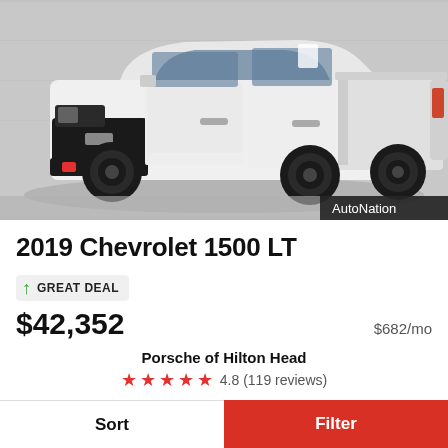[Figure (photo): White 2019 Chevrolet Silverado 1500 LT pickup truck photographed from front-left angle against a gray concrete wall background. AutoNation watermark in bottom-right corner.]
2019 Chevrolet 1500 LT
GREAT DEAL
$42,352   $682/mo
Porsche of Hilton Head
4.8 (119 reviews)
Used   92,976 Mi.
Sort   Filter